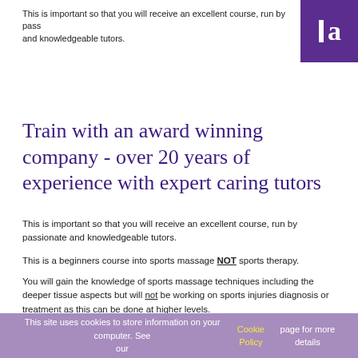This is important so that you will receive an excellent course, run by passionate and knowledgeable tutors.
[Figure (logo): Purple bookmark-shaped logo with a white vertical bar and letter 'a' in white]
Train with an award winning company - over 20 years of experience with expert caring tutors
This is important so that you will receive an excellent course, run by passionate and knowledgeable tutors.
This is a beginners course into sports massage NOT sports therapy.
You will gain the knowledge of sports massage techniques including the deeper tissue aspects but will not be working on sports injuries diagnosis or treatment as this can be done at higher levels.
We advise looking into ITEC level 4&5 after completing your ITEC sports massage level 3 as these offer great additions to the basis you will learn on this course.
This site uses cookies to store information on your computer. See our Cookie Policy page for more details